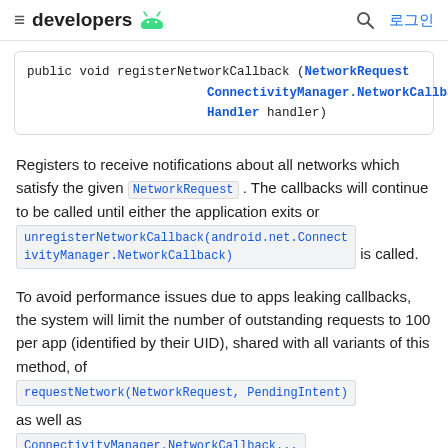≡  developers 🤖   🔍  로그인
public void registerNetworkCallback (NetworkRequest
                        ConnectivityManager.NetworkCallback
                        Handler handler)
Registers to receive notifications about all networks which satisfy the given NetworkRequest. The callbacks will continue to be called until either the application exits or unregisterNetworkCallback(android.net.ConnectivityManager.NetworkCallback) is called.
To avoid performance issues due to apps leaking callbacks, the system will limit the number of outstanding requests to 100 per app (identified by their UID), shared with all variants of this method, of requestNetwork(NetworkRequest, PendingIntent) as well as
ConnectivityManager.NetworkCallback...